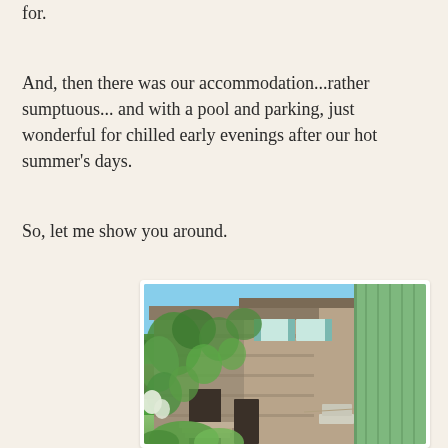for.
And, then there was our accommodation...rather sumptuous... and with a pool and parking, just wonderful for chilled early evenings after our hot summer's days.
So, let me show you around.
[Figure (photo): A stone house covered in ivy/climbing plants with green shutters, viewed from outside through a green wooden shutter on the right side. The building has multiple floors with blue-green shutters and stone steps leading to an entrance.]